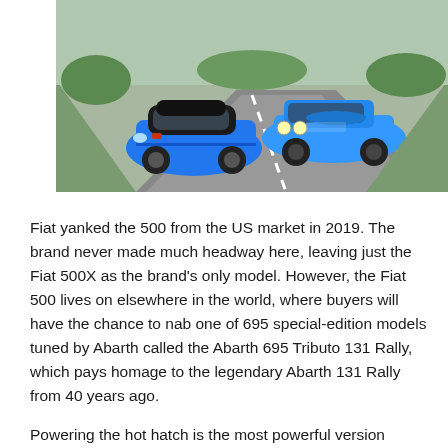[Figure (photo): Two blue cars on a road: a modern Abarth 695 hatchback on the left and a classic Abarth 131 Rally car on the right, both in vivid blue, photographed from above on a grey road with green surroundings.]
Fiat yanked the 500 from the US market in 2019. The brand never made much headway here, leaving just the Fiat 500X as the brand's only model. However, the Fiat 500 lives on elsewhere in the world, where buyers will have the chance to nab one of 695 special-edition models tuned by Abarth called the Abarth 695 Tributo 131 Rally, which pays homage to the legendary Abarth 131 Rally from 40 years ago.
Powering the hot hatch is the most powerful version